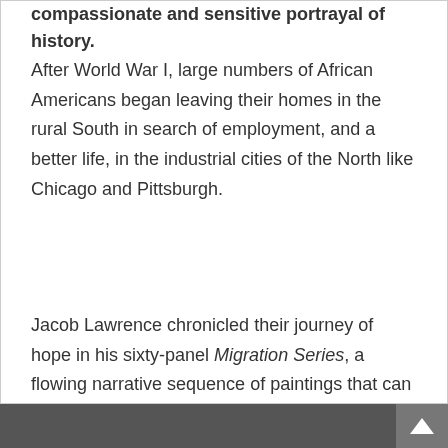compassionate and sensitive portrayal of history.
After World War I, large numbers of African Americans began leaving their homes in the rural South in search of employment, and a better life, in the industrial cities of the North like Chicago and Pittsburgh.
Jacob Lawrence chronicled their journey of hope in his sixty-panel Migration Series, a flowing narrative sequence of paintings that can now be found divided between the Museum of Modern Art and the Phillips Collection.
In this profound picture book, Lawrence brings all